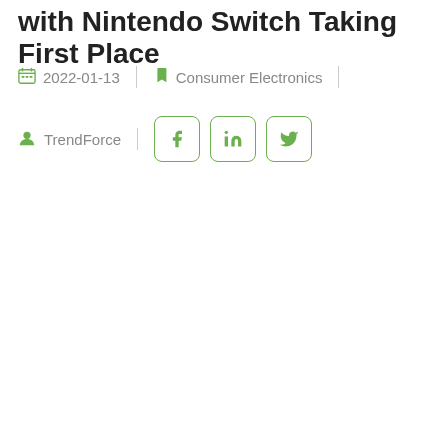with Nintendo Switch Taking First Place
2022-01-13  |  Consumer Electronics
TrendForce